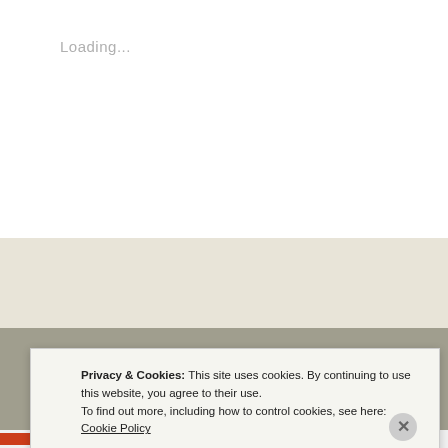Loading...
ABOUT ME
My father has been to 50+ countries and I'm
Privacy & Cookies: This site uses cookies. By continuing to use this website, you agree to their use.
To find out more, including how to control cookies, see here:
Cookie Policy
Close and accept